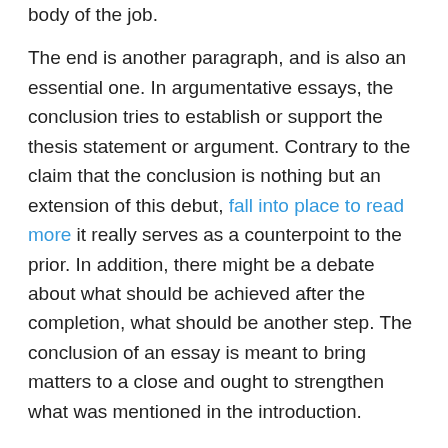body of the job.
The end is another paragraph, and is also an essential one. In argumentative essays, the conclusion tries to establish or support the thesis statement or argument. Contrary to the claim that the conclusion is nothing but an extension of this debut, fall into place to read more it really serves as a counterpoint to the prior. In addition, there might be a debate about what should be achieved after the completion, what should be another step. The conclusion of an essay is meant to bring matters to a close and ought to strengthen what was mentioned in the introduction.
Part one of the essay is known as the introduction. This part introduces the author and his/her thesis or subject. It presents the reader to the author, the job, and what he expects to accomplish by writing the essay. As with the